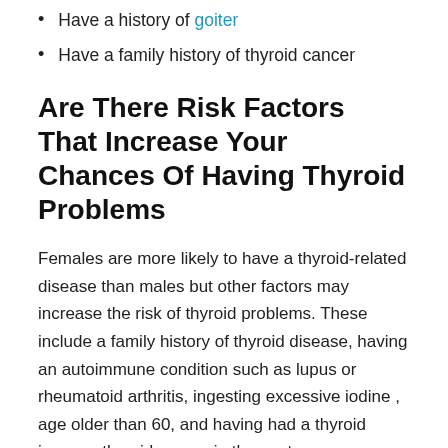Have a history of goiter
Have a family history of thyroid cancer
Are There Risk Factors That Increase Your Chances Of Having Thyroid Problems
Females are more likely to have a thyroid-related disease than males but other factors may increase the risk of thyroid problems. These include a family history of thyroid disease, having an autoimmune condition such as lupus or rheumatoid arthritis, ingesting excessive iodine , age older than 60, and having had a thyroid issue or thyroid cancer in the past.
You May Like: What Is Levothyroxine Used For In Humans